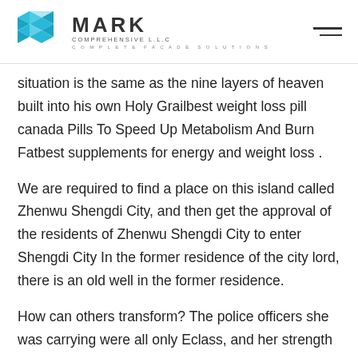MARK COMPREHENSIVE LLC – COMPLETE FACADE SOLUTIONS
situation is the same as the nine layers of heaven built into his own Holy Grailbest weight loss pill canada Pills To Speed Up Metabolism And Burn Fatbest supplements for energy and weight loss .
We are required to find a place on this island called Zhenwu Shengdi City, and then get the approval of the residents of Zhenwu Shengdi City to enter Shengdi City In the former residence of the city lord, there is an old well in the former residence.
How can others transform? The police officers she was carrying were all only Eclass, and her strength was